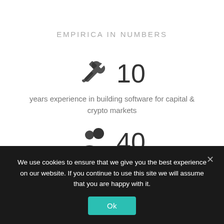EMPIRICA IN NUMBERS
[Figure (infographic): Hammer and wrench crossed icon with number 10]
years experience in building software for capital & crypto markets
[Figure (infographic): Two people/users icon with number 40]
We use cookies to ensure that we give you the best experience on our website. If you continue to use this site we will assume that you are happy with it.